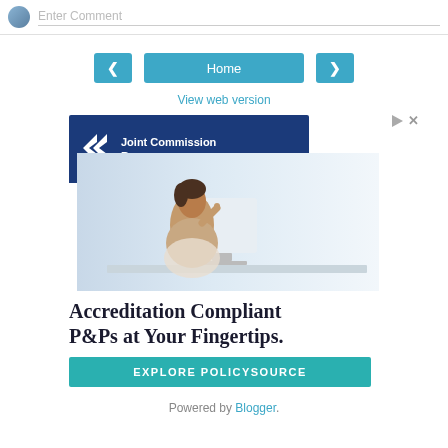Enter Comment
< Home >
View web version
[Figure (illustration): Joint Commission Resources advertisement showing logo banner in dark blue with white chevron logo marks and company name, photo of woman at desk with computer, headline 'Accreditation Compliant P&Ps at Your Fingertips.' and teal CTA button 'EXPLORE POLICYSOURCE']
Powered by Blogger.